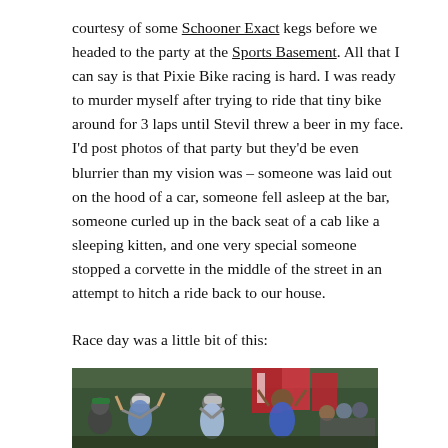courtesy of some Schooner Exact kegs before we headed to the party at the Sports Basement. All that I can say is that Pixie Bike racing is hard. I was ready to murder myself after trying to ride that tiny bike around for 3 laps until Stevil threw a beer in my face. I'd post photos of that party but they'd be even blurrier than my vision was – someone was laid out on the hood of a car, someone fell asleep at the bar, someone curled up in the back seat of a cab like a sleeping kitten, and one very special someone stopped a corvette in the middle of the street in an attempt to hitch a ride back to our house.
Race day was a little bit of this:
[Figure (photo): A group of cyclists and spectators celebrating at what appears to be a finish line or race event. Multiple people are raising their hands in celebration. Some riders are in cycling gear and helmets. Red and white banners/flags visible in the background. Crowd of onlookers visible on the right side.]